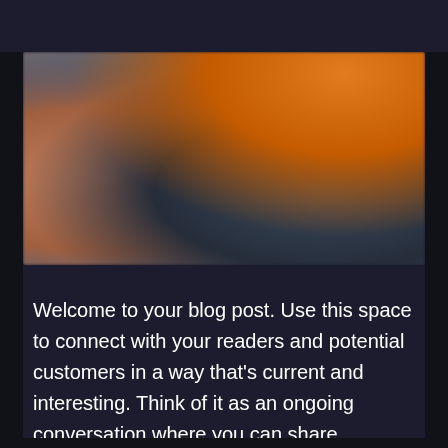[Figure (photo): Blurred photo showing a person in a blue sports top reaching toward a dark electronic device/box, with an orange background visible on the right side. The image appears to show hands interacting with fitness or tech equipment.]
Welcome to your blog post. Use this space to connect with your readers and potential customers in a way that's current and interesting. Think of it as an ongoing conversation where you can share updates about business, trends, news, and more.